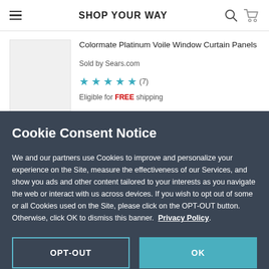SHOP YOUR WAY
Colormate Platinum Voile Window Curtain Panels
Sold by Sears.com
★★★★½ (7)
Eligible for FREE shipping
Cookie Consent Notice
We and our partners use Cookies to improve and personalize your experience on the Site, measure the effectiveness of our Services, and show you ads and other content tailored to your interests as you navigate the web or interact with us across devices. If you wish to opt out of some or all Cookies used on the Site, please click on the OPT-OUT button. Otherwise, click OK to dismiss this banner.  Privacy Policy.
OPT-OUT
OK